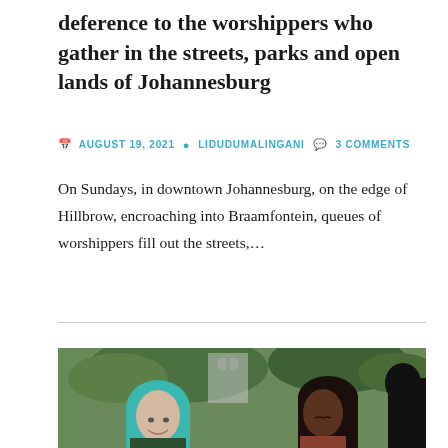deference to the worshippers who gather in the streets, parks and open lands of Johannesburg
AUGUST 19, 2021  LIDUDUMALINGANI  3 COMMENTS
On Sundays, in downtown Johannesburg, on the edge of Hillbrow, encroaching into Braamfontein, queues of worshippers fill out the streets,…
[Figure (photo): Outdoor photo showing two women in a green, tree-filled setting. One has blue-green hair and is smiling, the other has dark hair and is looking down.]